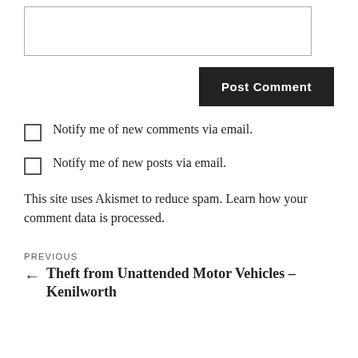[Figure (other): Empty textarea input box for comment entry]
[Figure (other): Post Comment button, dark/black background with white bold text]
Notify me of new comments via email.
Notify me of new posts via email.
This site uses Akismet to reduce spam. Learn how your comment data is processed.
PREVIOUS
← Theft from Unattended Motor Vehicles – Kenilworth